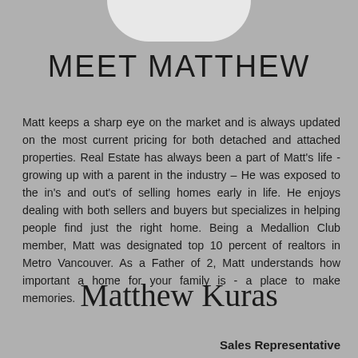[Figure (photo): Partial photo of a person at the top of the page, showing lower portion of white shirt/clothing]
MEET MATTHEW
Matt keeps a sharp eye on the market and is always updated on the most current pricing for both detached and attached properties. Real Estate has always been a part of Matt's life - growing up with a parent in the industry – He was exposed to the in's and out's of selling homes early in life. He enjoys dealing with both sellers and buyers but specializes in helping people find just the right home. Being a Medallion Club member, Matt was designated top 10 percent of realtors in Metro Vancouver. As a Father of 2, Matt understands how important a home for your family is - a place to make memories.
Matthew Kuras
Sales Representative